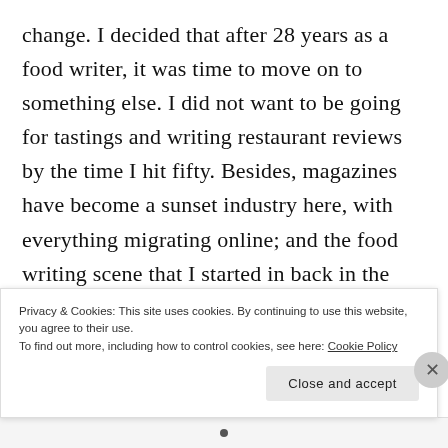change. I decided that after 28 years as a food writer, it was time to move on to something else. I did not want to be going for tastings and writing restaurant reviews by the time I hit fifty. Besides, magazines have become a sunset industry here, with everything migrating online; and the food writing scene that I started in back in the 1990s has changed fundamentally, and I was not enamoured with what I saw.
Privacy & Cookies: This site uses cookies. By continuing to use this website, you agree to their use.
To find out more, including how to control cookies, see here: Cookie Policy